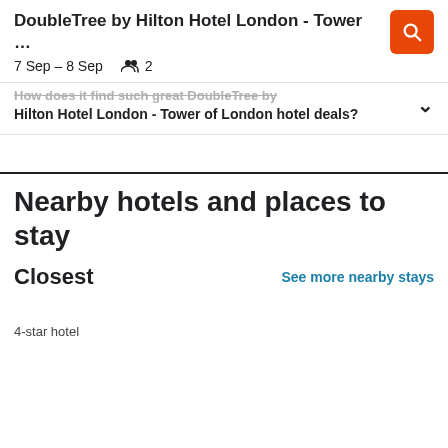DoubleTree by Hilton Hotel London - Tower …
7 Sep – 8 Sep   👥 2
How does it find such great DoubleTree by Hilton Hotel London - Tower of London hotel deals?
Nearby hotels and places to stay
Closest
See more nearby stays
4-star hotel